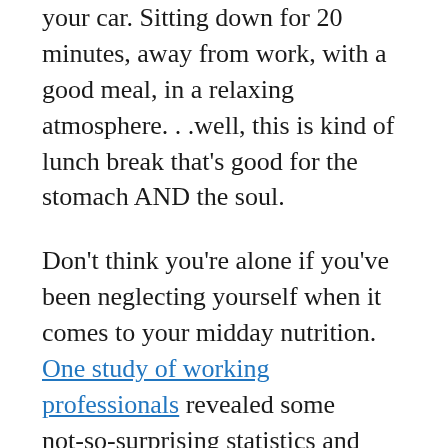your car. Sitting down for 20 minutes, away from work, with a good meal, in a relaxing atmosphere...well, this is kind of lunch break that's good for the stomach AND the soul.
Don't think you're alone if you've been neglecting yourself when it comes to your midday nutrition. One study of working professionals revealed some not-so-surprising statistics and underscored just how many of us suffer a huge disconnect between what want for ourselves versus what we feel like we can squeeze in during a busy day. According to the study, 80% say regular meals are important to them. That's great, because eating regularly throughout the day is smart, and it's good for the body and the brain. But in practice, 35% say